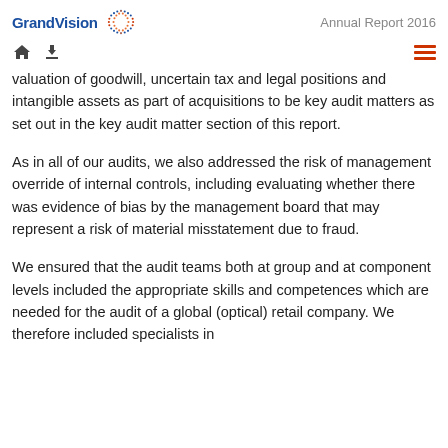GrandVision Annual Report 2016
valuation of goodwill, uncertain tax and legal positions and intangible assets as part of acquisitions to be key audit matters as set out in the key audit matter section of this report.
As in all of our audits, we also addressed the risk of management override of internal controls, including evaluating whether there was evidence of bias by the management board that may represent a risk of material misstatement due to fraud.
We ensured that the audit teams both at group and at component levels included the appropriate skills and competences which are needed for the audit of a global (optical) retail company. We therefore included specialists in